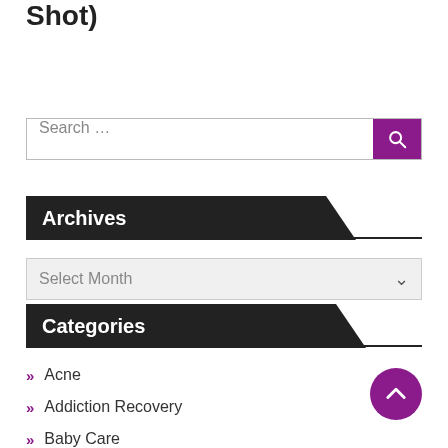Shot)
Search ...
Archives
Select Month
Categories
Acne
Addiction Recovery
Baby Care